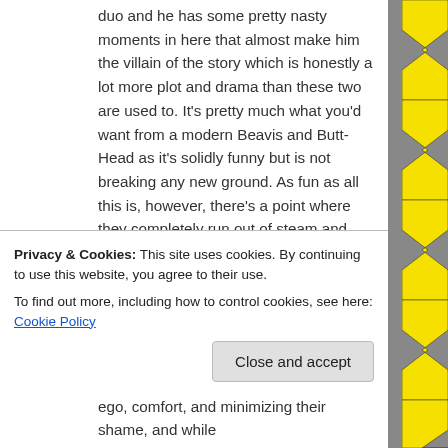duo and he has some pretty nasty moments in here that almost make him the villain of the story which is honestly a lot more plot and drama than these two are used to. It's pretty much what you'd want from a modern Beavis and Butt-Head as it's solidly funny but is not breaking any new ground. As fun as all this is, however, there's a point where they completely run out of steam and what is supposed to be the subtext of the entire franchise becomes laid bare in a way that is just not funny or interesting. The thing about Beavis and Butthead is that they may be foolish and ignorant
Privacy & Cookies: This site uses cookies. By continuing to use this website, you agree to their use.
To find out more, including how to control cookies, see here: Cookie Policy
Close and accept
ego, comfort, and minimizing their shame, and while